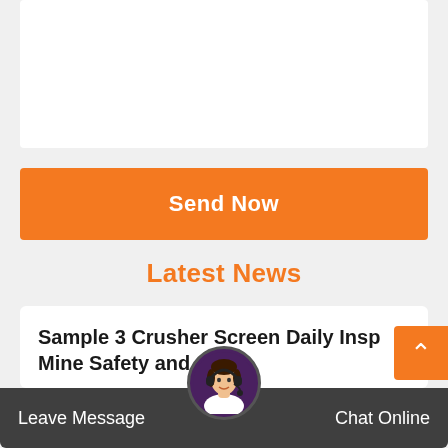[Figure (other): White card placeholder area at top]
Send Now
Latest News
Sample 3 Crusher Screen Daily Insp Mine Safety and
Hand rails/Safety harness/Fall protection in place Hearing protection available and used
[Figure (other): Scroll to top orange button with up arrow]
Leave Message  Chat Online